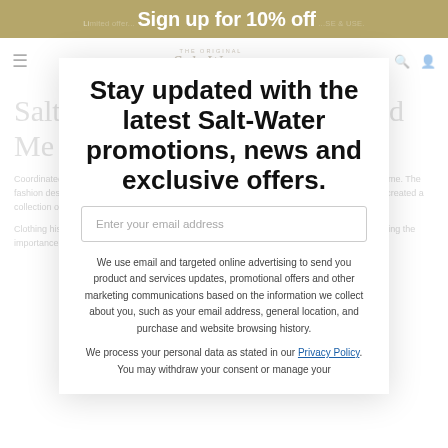Sign up for 10% off
THE ORIGINAL Salt-Water
Salt-Water Sandals Mummy and Me Selection
Coordinated family fashion, or twinning outfits as it's also known, has been around for a long time. The fashion designer Jeanne Lanvin is credited with bringing the concept to life in 1908 when she created a collection of dresses for women and young girls inspired by her eleven year old daughter.
Clothing historians have observed that matching mum and daughter outfits is a way of reinforcing the importance of the mother daughter bond and all
Stay updated with the latest Salt-Water promotions, news and exclusive offers.
Enter your email address
We use email and targeted online advertising to send you product and services updates, promotional offers and other marketing communications based on the information we collect about you, such as your email address, general location, and purchase and website browsing history.
We process your personal data as stated in our Privacy Policy. You may withdraw your consent or manage your